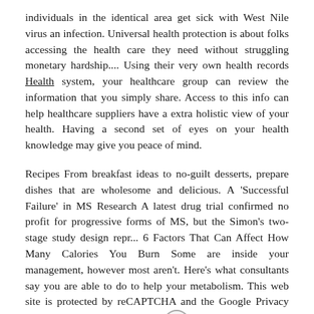individuals in the identical area get sick with West Nile virus an infection. Universal health protection is about folks accessing the health care they need without struggling monetary hardship.... Using their very own health records Health system, your healthcare group can review the information that you simply share. Access to this info can help healthcare suppliers have a extra holistic view of your health. Having a second set of eyes on your health knowledge may give you peace of mind.
Recipes From breakfast ideas to no-guilt desserts, prepare dishes that are wholesome and delicious. A 'Successful Failure' in MS Research A latest drug trial confirmed no profit for progressive forms of MS, but the Simon's two-stage study design repr... 6 Factors That Can Affect How Many Calories You Burn Some are inside your management, however most aren't. Here's what consultants say you are able to do to help your metabolism. This web site is protected by reCAPTCHA and the Google Privacy Policy and Terms of Service apply. Healthdirect Australia is a free service the place you can